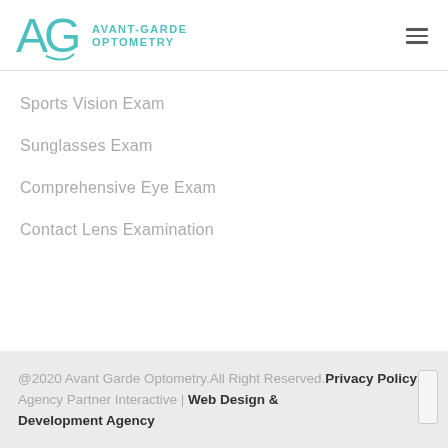AVANT-GARDE OPTOMETRY
Sports Vision Exam
Sunglasses Exam
Comprehensive Eye Exam
Contact Lens Examination
@2020 Avant Garde Optometry.All Right Reserved. Privacy Policy Agency Partner Interactive | Web Design & Development Agency